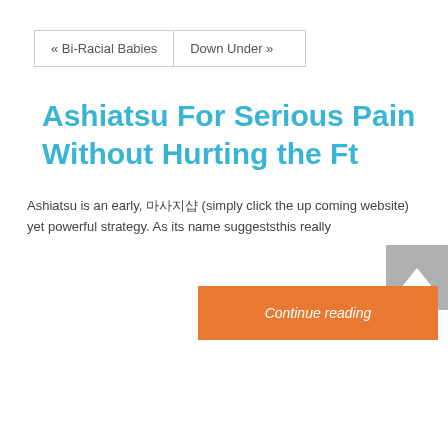« Bi-Racial Babies | Down Under »
Ashiatsu For Serious Pain Without Hurting the Ft
Ashiatsu is an early, 마사지샵 (simply click the up coming website) yet powerful strategy. As its name suggeststhis really
Continue reading